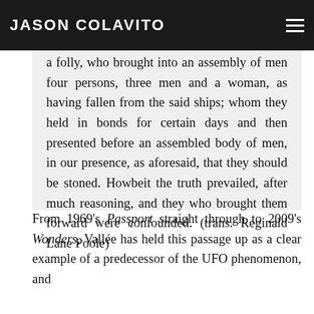JASON COLAVITO
a folly, who brought into an assembly of men four persons, three men and a woman, as having fallen from the said ships; whom they held in bonds for certain days and then presented before an assembled body of men, in our presence, as aforesaid, that they should be stoned. Howbeit the truth prevailed, after much reasoning, and they who brought them forward were confounded. (trans. Reginald Lane Poole)
From 1969's Passport straight through to 2009's Wonders, Vallée has held this passage up as a clear example of a predecessor of the UFO phenomenon, and